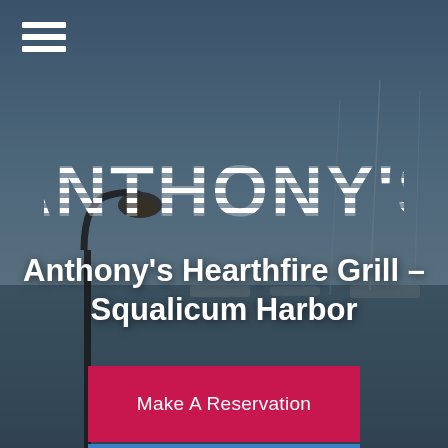[Figure (photo): Harbor marina background with sailboats at Squalicum Harbor, blue sky, masts visible, dark overlay. Street lamp silhouette on left side. Mobile website screenshot for Anthony's Hearthfire Grill.]
ANTHONY'S
Anthony's Hearthfire Grill – Squalicum Harbor
Make A Reservation
Order Online